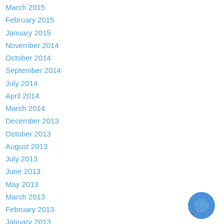March 2015
February 2015
January 2015
November 2014
October 2014
September 2014
July 2014
April 2014
March 2014
December 2013
October 2013
August 2013
July 2013
June 2013
May 2013
March 2013
February 2013
January 2013
December 2012
November 2012
[Figure (logo): Facebook Messenger icon — blue circle with white lightning bolt chat bubble]